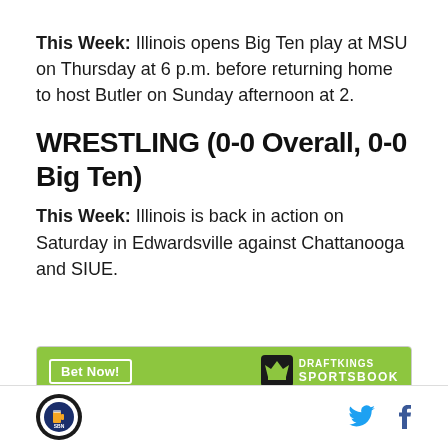This Week: Illinois opens Big Ten play at MSU on Thursday at 6 p.m. before returning home to host Butler on Sunday afternoon at 2.
WRESTLING (0-0 Overall, 0-0 Big Ten)
This Week: Illinois is back in action on Saturday in Edwardsville against Chattanooga and SIUE.
[Figure (other): DraftKings Sportsbook betting widget with Bet Now button and Illinois Fighting Illini team entry]
SB Nation logo | Twitter icon | Facebook icon